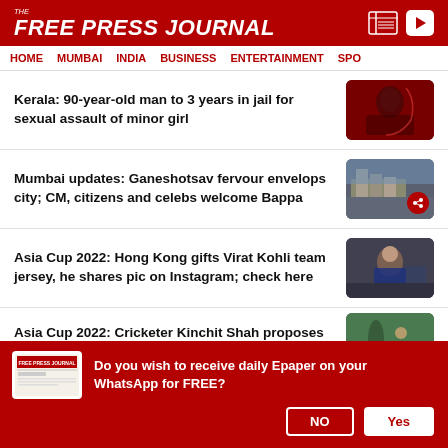THE FREE PRESS JOURNAL
HOME | MUMBAI | INDIA | BUSINESS | ENTERTAINMENT | SPO
Kerala: 90-year-old man to 3 years in jail for sexual assault of minor girl
Mumbai updates: Ganeshotsav fervour envelops city; CM, citizens and celebs welcome Bappa
Asia Cup 2022: Hong Kong gifts Virat Kohli team jersey, he shares pic on Instagram; check here
Asia Cup 2022: Cricketer Kinchit Shah proposes partner after India vs Hong
Do you wish to receive daily Epaper on your WhatsApp for FREE?